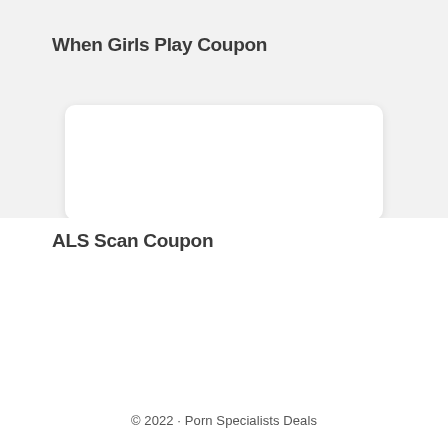When Girls Play Coupon
[Figure (other): Card/image placeholder area with rounded white rectangle on gray background]
ALS Scan Coupon
© 2022 · Porn Specialists Deals